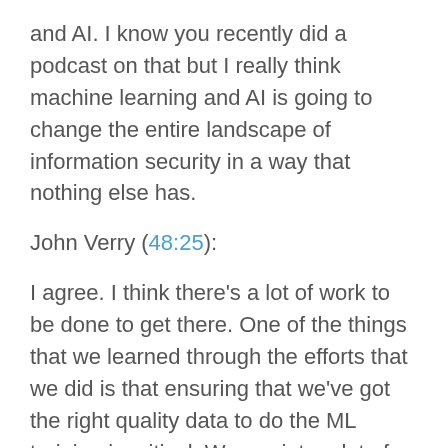and AI. I know you recently did a podcast on that but I really think machine learning and AI is going to change the entire landscape of information security in a way that nothing else has.
John Verry (48:25):
I agree. I think there's a lot of work to be done to get there. One of the things that we learned through the efforts that we did is that ensuring that we've got the right quality data to do the ML training is critical. We ran into a lot of problems with the data not being normalized, with inconsistencies in the way the data was structured. I am hopeful that the executive